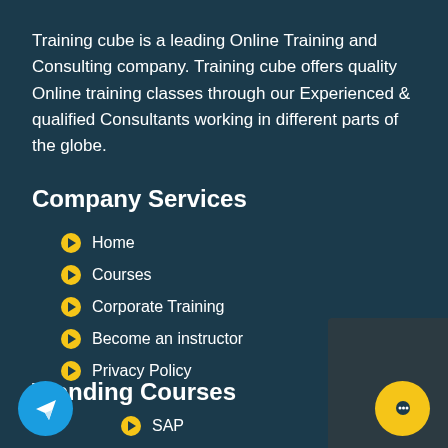Training cube is a leading Online Training and Consulting company. Training cube offers quality Online training classes through our Experienced & qualified Consultants working in different parts of the globe.
Company Services
Home
Courses
Corporate Training
Become an instructor
Privacy Policy
Trending Courses
SAP
Oracle